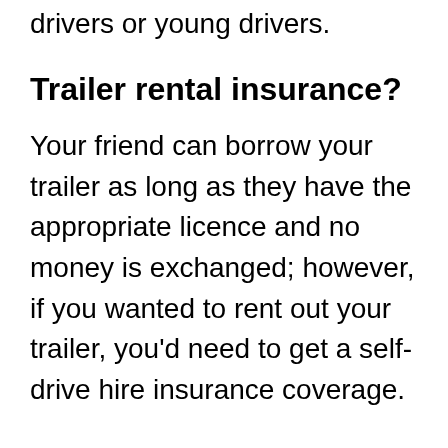insure it but for low-mileage drivers or young drivers.
Trailer rental insurance?
Your friend can borrow your trailer as long as they have the appropriate licence and no money is exchanged; however, if you wanted to rent out your trailer, you'd need to get a self-drive hire insurance coverage.